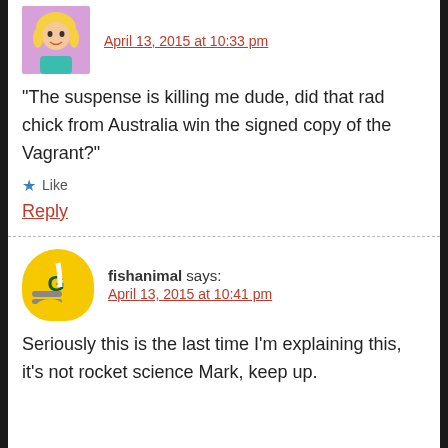[Figure (illustration): Cartoon avatar of a blonde girl character]
April 13, 2015 at 10:33 pm
“The suspense is killing me dude, did that rad chick from Australia win the signed copy of the Vagrant?”
★ Like
Reply
[Figure (illustration): Green Bay Packers football helmet avatar]
fishanimal says:
April 13, 2015 at 10:41 pm
Seriously this is the last time I’m explaining this, it’s not rocket science Mark, keep up.